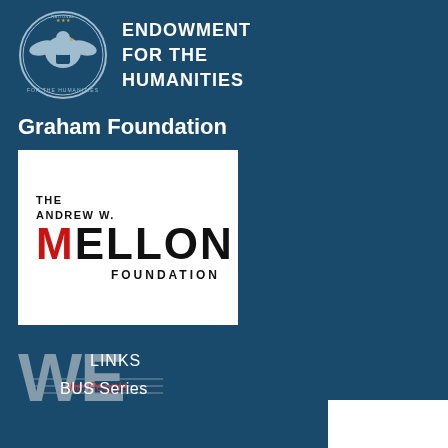[Figure (logo): National Endowment for the Humanities seal/logo with eagle, and text reading ENDOWMENT FOR THE HUMANITIES]
Graham Foundation
[Figure (logo): The Andrew W. Mellon Foundation logo — large bold MELLON text with red M, and FOUNDATION underneath]
[Figure (logo): WE the People logo in faded gray-white letters with red accent text 'the People']
LINKS
BUS Series